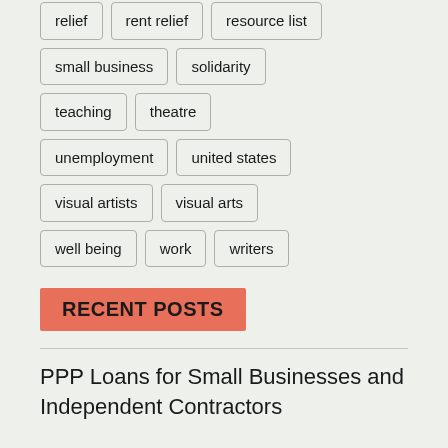relief
rent relief
resource list
small business
solidarity
teaching
theatre
unemployment
united states
visual artists
visual arts
well being
work
writers
RECENT POSTS
PPP Loans for Small Businesses and Independent Contractors